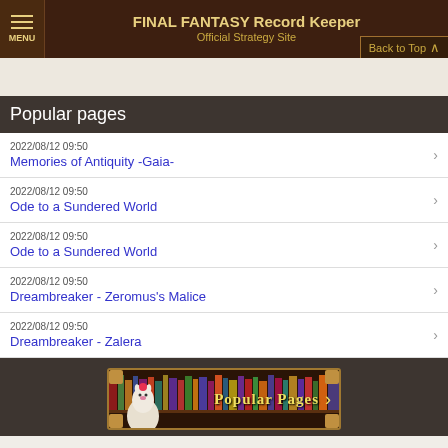FINAL FANTASY Record Keeper Official Strategy Site
Popular pages
2022/08/12 09:50
Memories of Antiquity -Gaia-
2022/08/12 09:50
Ode to a Sundered World
2022/08/12 09:50
Ode to a Sundered World
2022/08/12 09:50
Dreambreaker - Zeromus's Malice
2022/08/12 09:50
Dreambreaker - Zalera
[Figure (illustration): Popular Pages banner button with mascot character and bookshelf background]